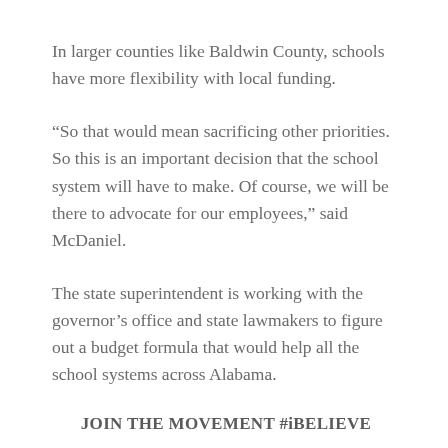In larger counties like Baldwin County, schools have more flexibility with local funding.
“So that would mean sacrificing other priorities. So this is an important decision that the school system will have to make. Of course, we will be there to advocate for our employees,” said McDaniel.
The state superintendent is working with the governor’s office and state lawmakers to figure out a budget formula that would help all the school systems across Alabama.
JOIN THE MOVEMENT #iBELIEVE